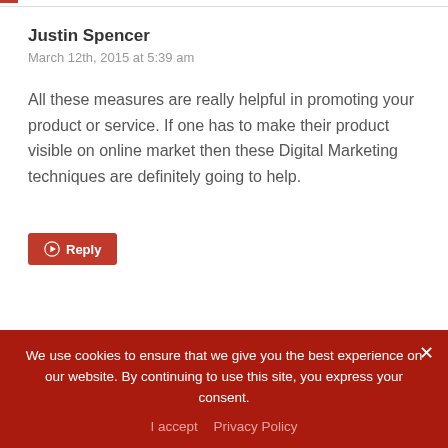Justin Spencer
March 12th, 2015 at 5:39 am
All these measures are really helpful in promoting your product or service. If one has to make their product visible on online market then these Digital Marketing techniques are definitely going to help.
Reply
We use cookies to ensure that we give you the best experience on our website. By continuing to use this site, you express your consent.
I accept  Privacy Policy